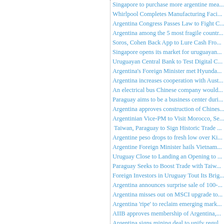Singapore to purchase more argentine mea...
Whirlpool Completes Manufacturing Faci...
Argentina Congress Passes Law to Fight C...
Argentina among the 5 most fragile countr...
Soros, Cohen Back App to Lure Cash Fro...
Singapore opens its market for uruguayan...
Uruguayan Central Bank to Test Digital C...
Argentina's Foreign Minister met Hyunda...
Argentina increases cooperation with Aust...
An electrical bus Chinese company would...
Paraguay aims to be a business center duri...
Argentina approves construction of Chines...
Argentinian Vice-PM to Visit Morocco, Se...
Taiwan, Paraguay to Sign Historic Trade ...
Argentine peso drops to fresh low over Ki...
Argentine Foreign Minister hails Vietnam...
Uruguay Close to Landing an Opening to ...
Paraguay Seeks to Boost Trade with Taiw...
Foreign Investors in Uruguay Tout Its Brig...
Argentina announces surprise sale of 100-...
Argentina misses out on MSCI upgrade to...
Argentina 'ripe' to reclaim emerging mark...
AIIB approves membership of Argentina,...
Argentina signs mining deal to unify regul...
Germany's Merkel-EU Must Compromise...
Argentina and UK agree to implement the...
First shipment of Argentine beef to the Ph...
US dollar exchange rate raises and reache...